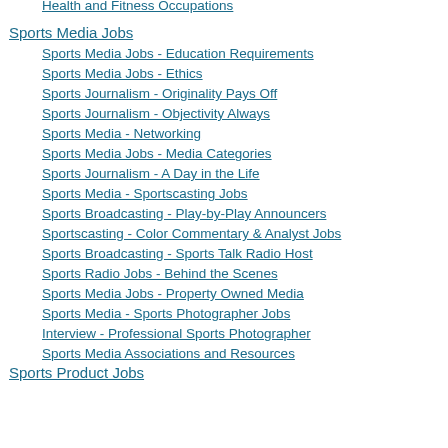Health and Fitness Occupations
Sports Media Jobs
Sports Media Jobs - Education Requirements
Sports Media Jobs - Ethics
Sports Journalism - Originality Pays Off
Sports Journalism - Objectivity Always
Sports Media - Networking
Sports Media Jobs - Media Categories
Sports Journalism - A Day in the Life
Sports Media - Sportscasting Jobs
Sports Broadcasting - Play-by-Play Announcers
Sportscasting - Color Commentary & Analyst Jobs
Sports Broadcasting - Sports Talk Radio Host
Sports Radio Jobs - Behind the Scenes
Sports Media Jobs - Property Owned Media
Sports Media - Sports Photographer Jobs
Interview - Professional Sports Photographer
Sports Media Associations and Resources
Sports Product Jobs